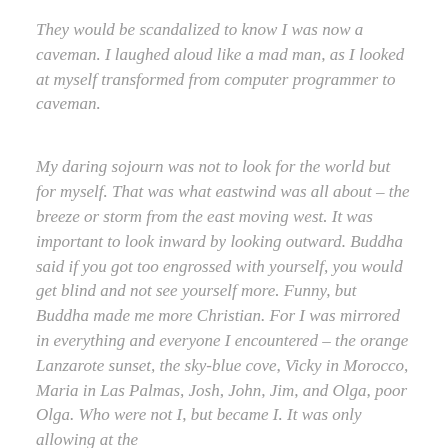They would be scandalized to know I was now a caveman. I laughed aloud like a mad man, as I looked at myself transformed from computer programmer to caveman.
My daring sojourn was not to look for the world but for myself. That was what eastwind was all about – the breeze or storm from the east moving west. It was important to look inward by looking outward. Buddha said if you got too engrossed with yourself, you would get blind and not see yourself more. Funny, but Buddha made me more Christian. For I was mirrored in everything and everyone I encountered – the orange Lanzarote sunset, the sky-blue cove, Vicky in Morocco, Maria in Las Palmas, Josh, John, Jim, and Olga, poor Olga. Who were not I, but became I. It was only allowing at the